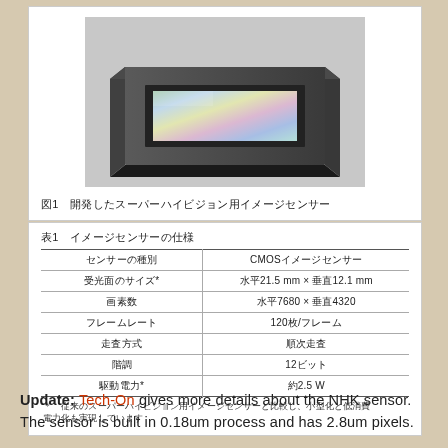[Figure (photo): Photograph of the developed Super Hi-Vision CMOS image sensor chip mounted in a dark rectangular package, showing the iridescent sensor surface with rainbow-like reflections.]
図1　開発したスーパーハイビジョン用イメージセンサー
| センサーの種別 | CMOSイメージセンサー |
| --- | --- |
| 受光面のサイズ* | 水平21.5mm × 垂直12.1 mm |
| 画素数 | 水平7680 × 垂直4320 |
| フレームレート | 120枚/フレーム |
| 走査方式 | 順次走査 |
| 階調 | 12ビット |
| 駆動電力* | 約2.5 W |
＊  従来のスーパーハイビジョン用イメージセンサーと比較し、小型化と低消費電力化も実現しています
Update: Tech-On gives more details about the NHK sensor. The sensor is built in 0.18um process and has 2.8um pixels.